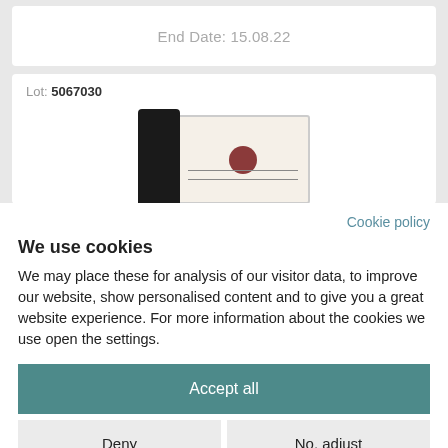End Date: 15.08.22
Lot: 5067030
[Figure (photo): Wine bottle with black capsule top and a wine gift box with red seal and decorative wings emblem on white background]
Cookie policy
We use cookies
We may place these for analysis of our visitor data, to improve our website, show personalised content and to give you a great website experience. For more information about the cookies we use open the settings.
Accept all
Deny
No, adjust